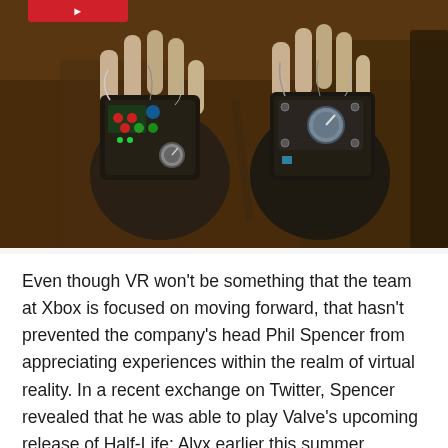[Figure (photo): Two robotic/mechanical gloved hands from Half-Life: Alyx VR game, showing dark mechanical components, circuit boards, red and green buttons, wires, and gauges against a dark brown industrial background. A red badge/label is visible at the top of the image.]
Even though VR won’t be something that the team at Xbox is focused on moving forward, that hasn’t prevented the company’s head Phil Spencer from appreciating experiences within the realm of virtual reality. In a recent exchange on Twitter, Spencer revealed that he was able to play Valve’s upcoming release of Half-Life: Alyx earlier this summer